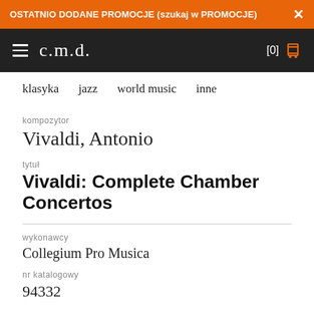OSTATNIO DODANE PROMOCJE (szukaj w PROMOCJE)
[Figure (screenshot): c.m.d. website navigation bar with hamburger menu, brand logo 'c.m.d.' and shopping cart icon showing [0]]
klasyka
jazz
world music
inne
kompozytor
Vivaldi, Antonio
tytuł
Vivaldi: Complete Chamber Concertos
wykonawcy
Collegium Pro Musica
nr katalogowy
94332